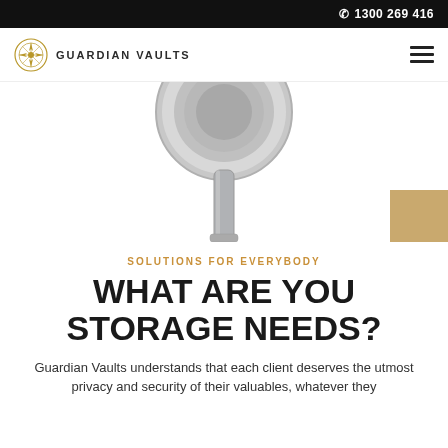1300 269 416
[Figure (logo): Guardian Vaults logo with compass rose emblem and text GUARDIAN VAULTS]
[Figure (photo): Close-up of a vault lock mechanism (circular stainless steel dial and handle) against a white background. A tan/gold colored rectangle is visible in the bottom right corner.]
SOLUTIONS FOR EVERYBODY
WHAT ARE YOU STORAGE NEEDS?
Guardian Vaults understands that each client deserves the utmost privacy and security of their valuables, whatever they